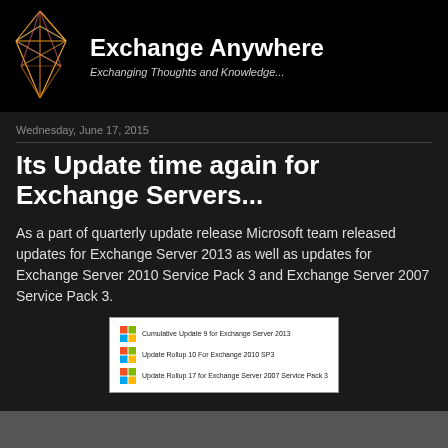[Figure (logo): Exchange Anywhere blog banner with a geometric crystal/diamond logo on black background. Title: Exchange Anywhere. Subtitle: Exchanging Thoughts and Knowledge...]
Wednesday, June 17, 2015
Its Update time again for Exchange Servers...
As a part of quarterly update release Microsoft team released updates for Exchange Server 2013 as well as updates for Exchange Server 2010 Service Pack 3 and Exchange Server 2007 Service Pack 3.
[Figure (screenshot): Screenshot showing three Windows update items: Cumulative Update 9 for Exchange Server 2013, Update Rollup 10 For Exchange 2010 SP3, Update Rollup 17 for Exchange Server 2007 Service Pack 3, each with a Microsoft colorful square logo.]